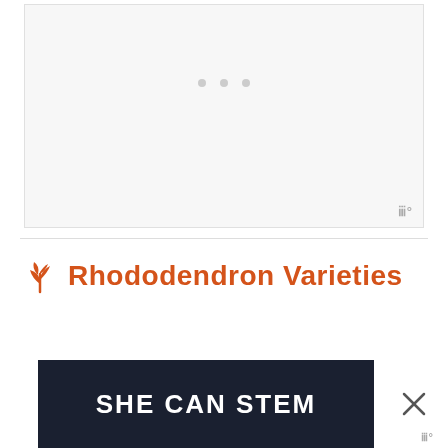[Figure (other): Light gray placeholder box with three gray dots indicating a loading or empty image area, with a watermark symbol in the bottom right corner]
🌱 Rhododendron Varieties
[Figure (other): Advertisement banner with dark navy background reading 'SHE CAN STEM' in large white bold text, with a close (X) button and watermark to the right]